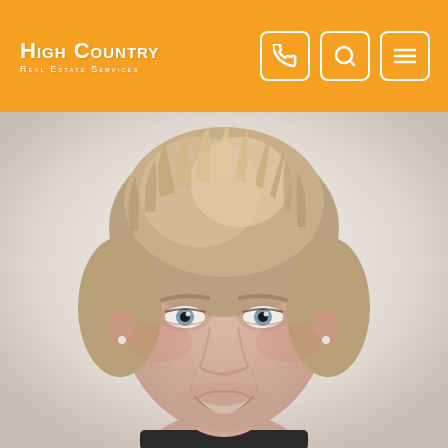High Country Real Estate Services
[Figure (photo): Professional headshot of a middle-aged woman with short blond/gray hair, blue eyes, smiling, wearing a dark top, photographed against a light background.]